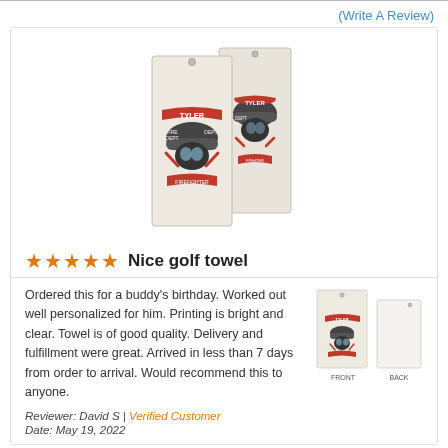(Write A Review)
[Figure (photo): Two personalized firefighter golf towels displayed side by side, beige/cream colored with a firefighter helmet and gear graphic printed on the front. One towel is slightly overlapping the other.]
Nice golf towel
Ordered this for a buddy's birthday. Worked out well personalized for him. Printing is bright and clear. Towel is of good quality. Delivery and fulfillment were great. Arrived in less than 7 days from order to arrival. Would recommend this to anyone.
[Figure (photo): Thumbnail images of front and back of the golf towel product]
Reviewer: David S | Verified Customer
Date: May 19, 2022